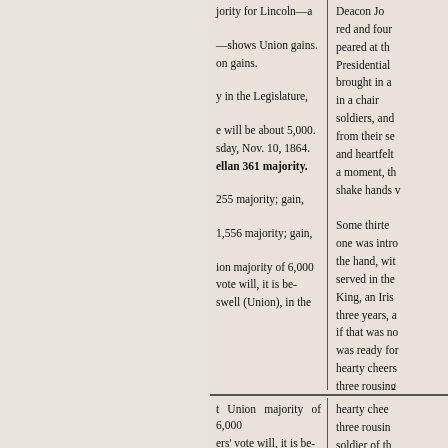jority for Lincoln—a —shows Union gains. on gains. y in the Legislature, e will be about 5,000. sday, Nov. 10, 1864. ellan 361 majority. 255 majority; gain, 1,556 majority; gain, ion majority of 6,000 vote will, it is be- swell (Union), in the
Deacon Jo red and four peared at th Presidential brought in a in a chair soldiers, and from their se and heartfelt a moment, th shake hands v Some thirte one was intro the hand, wit served in the King, an Iris three years, a if that was no was ready for hearty cheers three rousing soldier of the
t Union majority of 6,000 ers' vote will, it is be- reaswell (Union), in the LAND.
hearty chee three rousin soldier of th Col. Edw deacon, now speech to th that he was town, and linea II